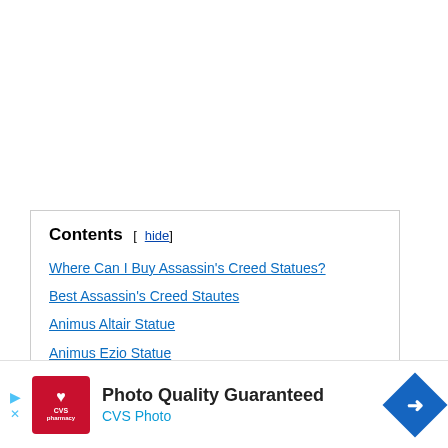Contents [hide]
Where Can I Buy Assassin's Creed Statues?
Best Assassin's Creed Stautes
Animus Altair Statue
Animus Ezio Statue
Animus Bayek Statue
[Figure (other): CVS Photo advertisement banner: Photo Quality Guaranteed]